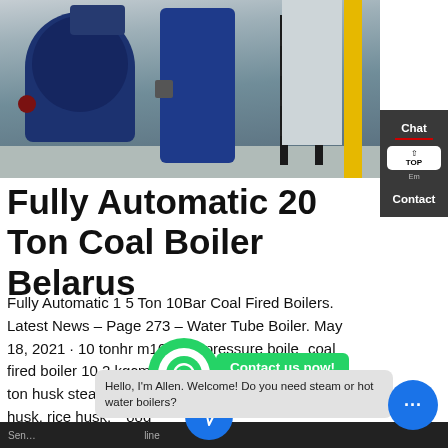[Figure (photo): Industrial boiler room with large blue boilers, metal ladders, and yellow structural pole. Factory setting with concrete floor.]
Fully Automatic 20 Ton Coal Boiler Belarus
Fully Automatic 1 5 Ton 10Bar Coal Fired Boilers. Latest News – Page 273 – Water Tube Boiler. May 18, 2021 · 10 tonhr m10 barg pressure boiler coal fired boiler 10 2 kgcm2 Industrial Coal Fired . 1 6 ton husk steam boiler is a kind of boiler directly use husk, rice husk, wood pellets, and other biomass as the fuel in ...
Chat
Contact
Contact us now!
Hello, I'm Allen. Welcome! Do you need steam or hot water boilers?